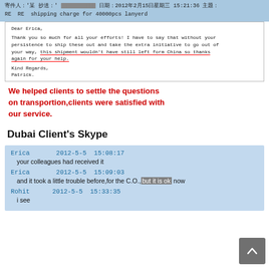[Figure (screenshot): Email header in Chinese showing sender, recipient, date 2012年2月15日星期三 15:21:36, and subject: RE RE shipping charge for 40000pcs lanyerd]
Dear Erica,

Thank you so much for all your efforts! I have to say that without your persistence to ship these out and take the extra initiative to go out of your way, this shipment wouldn't have still left form China so thanks again for your help.

Kind Regards,
Patrick.
We helped clients to settle the questions on transportion,clients were satisfied with our service.
Dubai Client's Skype
Erica     2012-5-5  15:08:17
  your colleagues had received it
Erica     2012-5-5  15:09:03
  and it took a little trouble before,for the C.O.,but it is ok now
Rohit     2012-5-5  15:33:35
  i see